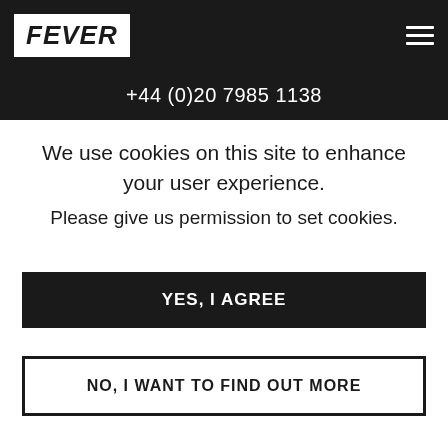FEVER +44 (0)20 7985 1138
We use cookies on this site to enhance your user experience. Please give us permission to set cookies.
YES, I AGREE
NO, I WANT TO FIND OUT MORE